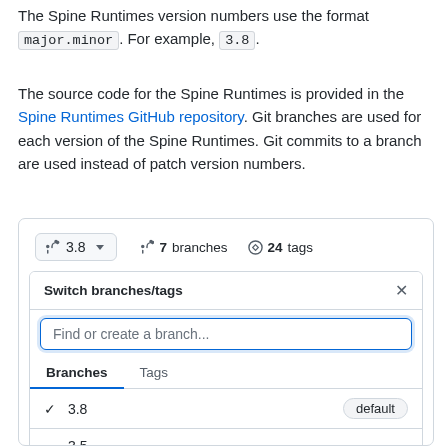The Spine Runtimes version numbers use the format major.minor. For example, 3.8.
The source code for the Spine Runtimes is provided in the Spine Runtimes GitHub repository. Git branches are used for each version of the Spine Runtimes. Git commits to a branch are used instead of patch version numbers.
[Figure (screenshot): GitHub repository branch switcher UI showing branch '3.8', 7 branches, 24 tags, a 'Switch branches/tags' dropdown with a search box 'Find or create a branch...', Branches and Tags tabs, branch 3.8 marked as default with a checkmark, and branch 3.5 partially visible.]